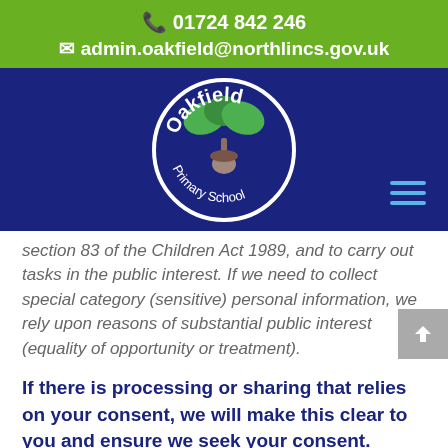📞 01724 842 246
✉ admin.oakfield@northlincs.gov.uk
[Figure (logo): Oakfield Primary School circular logo with oak tree and acorn on navy blue background]
section 83 of the Children Act 1989, and to carry out tasks in the public interest. If we need to collect special category (sensitive) personal information, we rely upon reasons of substantial public interest (equality of opportunity or treatment).
If there is processing or sharing that relies on your consent, we will make this clear to you and ensure we seek your consent.